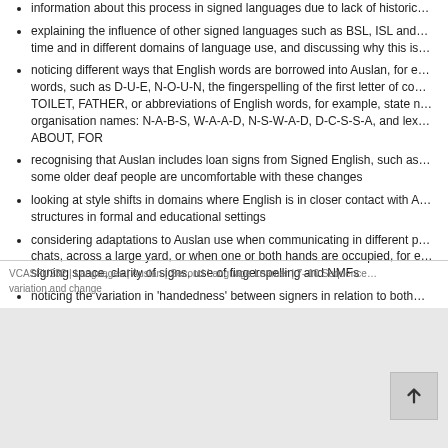information about this process in signed languages due to lack of historic…
explaining the influence of other signed languages such as BSL, ISL and… time and in different domains of language use, and discussing why this is…
noticing different ways that English words are borrowed into Auslan, for e… words, such as D-U-E, N-O-U-N, the fingerspelling of the first letter of co… TOILET, FATHER, or abbreviations of English words, for example, state n… organisation names: N-A-B-S, W-A-A-D, N-S-W-A-D, D-C-S-S-A, and lex… ABOUT, FOR
recognising that Auslan includes loan signs from Signed English, such as… some older deaf people are uncomfortable with these changes
looking at style shifts in domains where English is in closer contact with A… structures in formal and educational settings
considering adaptations to Auslan use when communicating in different p… chats, across a large yard, or when one or both hands are occupied, for e… signing space, clarity of signs, use of fingerspelling and NMFs
noticing the variation in 'handedness' between signers in relation to both… using their right hand as their dominant (main) hand; left handers doing t…
VCASFU232 | Languages | Auslan | Second Language Learner | 7–10 Sequence… variation and change